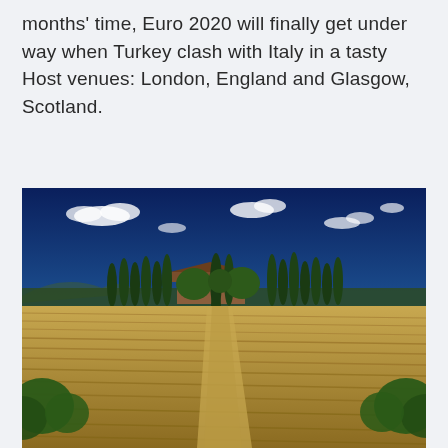months' time, Euro 2020 will finally get under way when Turkey clash with Italy in a tasty Host venues: London, England and Glasgow, Scotland.
[Figure (photo): Aerial landscape photo of a Tuscan countryside scene with cypress trees lining a driveway leading to a stone farmhouse, surrounded by golden ploughed fields under a deep blue sky with scattered white clouds.]